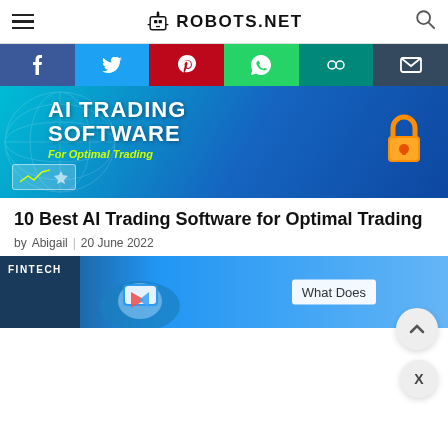ROBOTS.NET
[Figure (screenshot): Social sharing bar with Facebook, Twitter, Pinterest, WhatsApp, Google, and Email buttons]
[Figure (photo): AI Trading Software for Optimal Trading hero banner image with globe background and padlock]
10 Best AI Trading Software for Optimal Trading
by Abigail | 20 June 2022
[Figure (screenshot): FINTECH article preview image showing 'What Does' text]